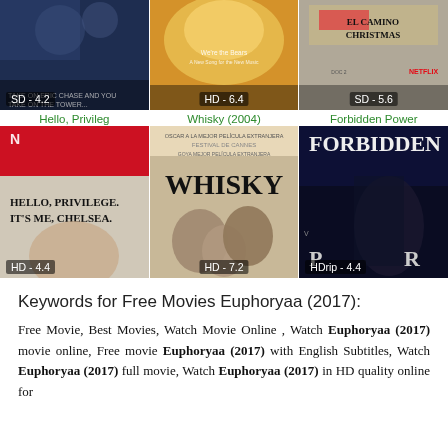[Figure (photo): Movie poster row 1: three movie posters with ratings SD-4.2, HD-6.4, SD-5.6]
[Figure (photo): Hello, Privilege. It's Me, Chelsea - Netflix movie poster, rating HD-4.4]
[Figure (photo): Whisky (2004) movie poster, rating HD-7.2]
[Figure (photo): Forbidden Power movie poster, rating HDrip-4.4]
Keywords for Free Movies Euphoryaa (2017):
Free Movie, Best Movies, Watch Movie Online , Watch Euphoryaa (2017) movie online, Free movie Euphoryaa (2017) with English Subtitles, Watch Euphoryaa (2017) full movie, Watch Euphoryaa (2017) in HD quality online for